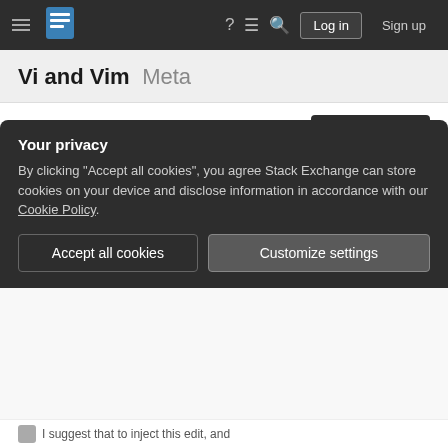Vi and Vim Meta — Stack Exchange navigation bar with Log in and Sign up buttons
Vi and Vim Meta
Ask Question
What to do with a suggested edit that should be an answer?
Asked 2 years, 11 months ago   Modified 2 years, 11 months ago
Viewed 40 times
Your privacy
By clicking "Accept all cookies", you agree Stack Exchange can store cookies on your device and disclose information in accordance with our Cookie Policy.
Accept all cookies   Customize settings